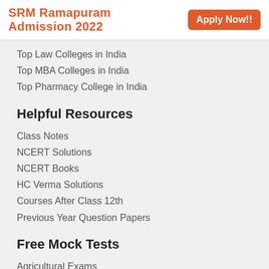SRM Ramapuram Admission 2022  Apply Now!!
Top Law Colleges in India
Top MBA Colleges in India
Top Pharmacy College in India
Helpful Resources
Class Notes
NCERT Solutions
NCERT Books
HC Verma Solutions
Courses After Class 12th
Previous Year Question Papers
Free Mock Tests
Agricultural Exams
Architecture Exams